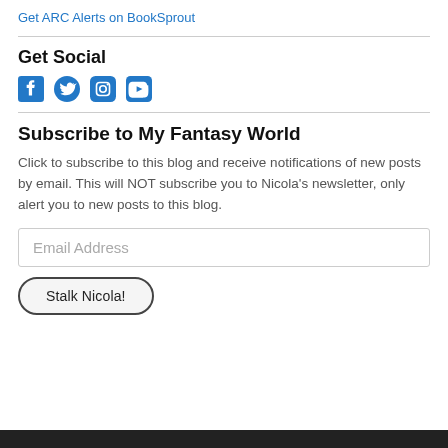Get ARC Alerts on BookSprout
Get Social
[Figure (illustration): Four social media icons: Facebook, Twitter, Instagram, YouTube — all in blue]
Subscribe to My Fantasy World
Click to subscribe to this blog and receive notifications of new posts by email. This will NOT subscribe you to Nicola's newsletter, only alert you to new posts to this blog.
Email Address
Stalk Nicola!